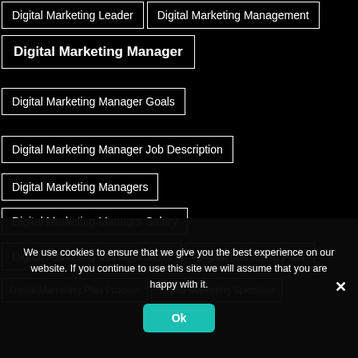Digital Marketing Leader
Digital Marketing Management
Digital Marketing Manager
Digital Marketing Manager Goals
Digital Marketing Manager Job Description
Digital Marketing Managers
Digital Marketing Manager Salary
Digital Marketing Manager Skills
Digital Marketing Plan
Digital Marketing Plan Process
Digital Marketing Specialist
We use cookies to ensure that we give you the best experience on our website. If you continue to use this site we will assume that you are happy with it.